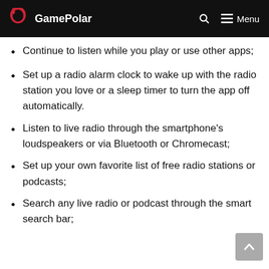GamePolar — Menu
Continue to listen while you play or use other apps;
Set up a radio alarm clock to wake up with the radio station you love or a sleep timer to turn the app off automatically.
Listen to live radio through the smartphone's loudspeakers or via Bluetooth or Chromecast;
Set up your own favorite list of free radio stations or podcasts;
Search any live radio or podcast through the smart search bar;